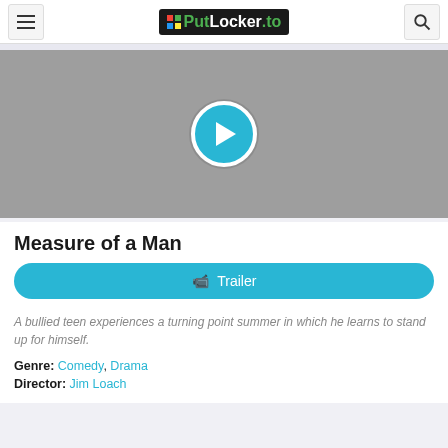PutLocker.to
[Figure (screenshot): Video player placeholder with gray background and a teal play button circle in the center]
Measure of a Man
Trailer
A bullied teen experiences a turning point summer in which he learns to stand up for himself.
Genre: Comedy, Drama
Director: Jim Loach